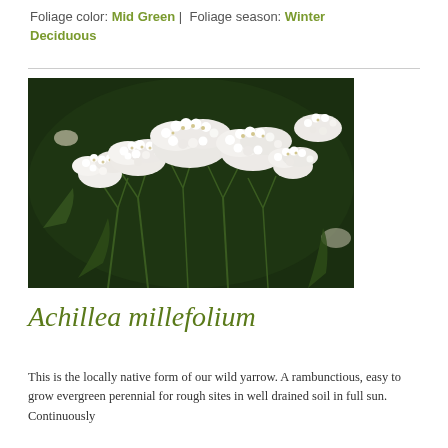Foliage color: Mid Green | Foliage season: Winter Deciduous
[Figure (photo): Close-up photo of Achillea millefolium (yarrow) with clusters of small white flowers on green stems against a dark green leafy background]
Achillea millefolium
This is the locally native form of our wild yarrow. A rambunctious, easy to grow evergreen perennial for rough sites in well drained soil in full sun. Continuously